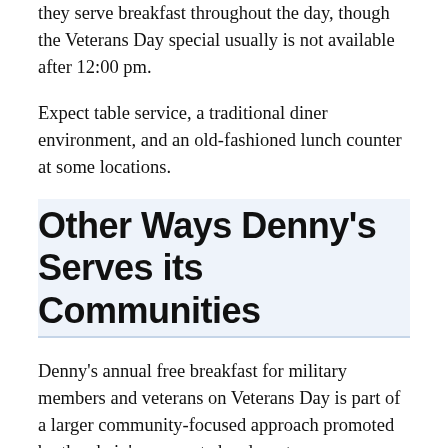they serve breakfast throughout the day, though the Veterans Day special usually is not available after 12:00 pm.
Expect table service, a traditional diner environment, and an old-fashioned lunch counter at some locations.
Other Ways Denny's Serves its Communities
Denny's annual free breakfast for military members and veterans on Veterans Day is part of a larger community-focused approach promoted by the chain's corporate headquarters.
It might interest veterans to know about Denny's Mobile Relief Diner which offers free [breakfast to people affected by natural disasters]